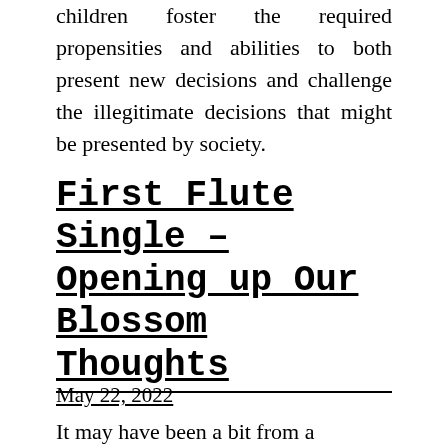children foster the required propensities and abilities to both present new decisions and challenge the illegitimate decisions that might be presented by society.
First Flute Single – Opening up Our Blossom Thoughts
May 22, 2022
It may have been a bit from a